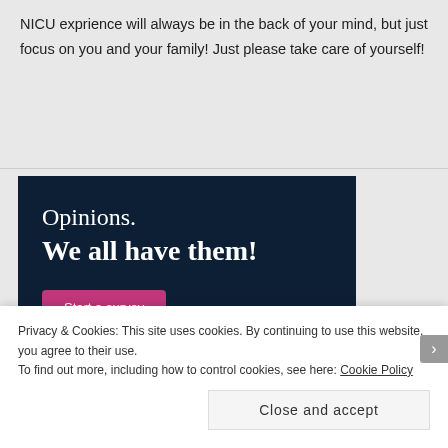NICU exprience will always be in the back of your mind, but just focus on you and your family! Just please take care of yourself!
REPLY
[Figure (illustration): Dark navy advertisement banner with text 'Opinions. We all have them!' and a pink 'Start a survey' button, with a CrowdSignal logo circle in the bottom right.]
Privacy & Cookies: This site uses cookies. By continuing to use this website, you agree to their use.
To find out more, including how to control cookies, see here: Cookie Policy
Close and accept